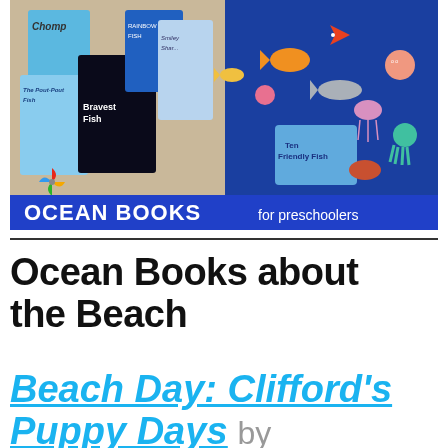[Figure (photo): Collage of ocean-themed children's books including 'Chomp', 'The Pout-Pout Fish', 'The Bravest Fish', 'Rainbow Fish', 'Smiley Shark', and a bulletin board with felt ocean animal cutouts and 'Ten Friendly Fish' book. A blue banner at the bottom reads 'OCEAN BOOKS for preschoolers'.]
Ocean Books about the Beach
Beach Day: Clifford's Puppy Days by